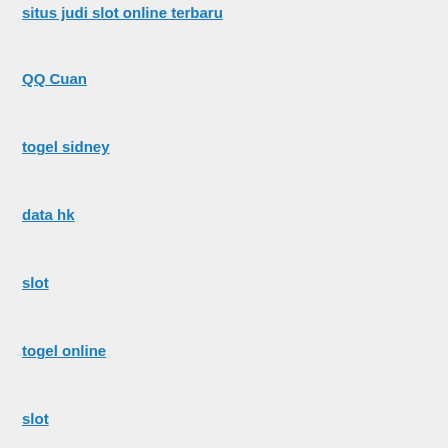situs judi slot online terbaru
QQ Cuan
togel sidney
data hk
slot
togel online
slot